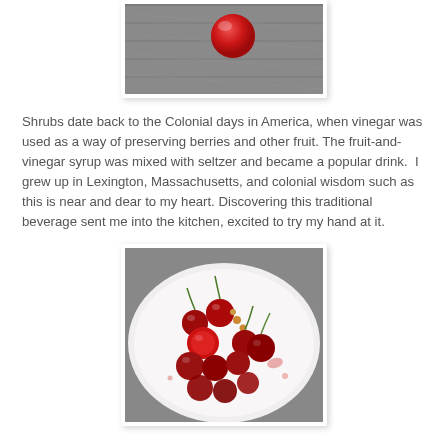[Figure (photo): Close-up photo of a single red cherry on a wooden surface, top portion of image visible]
Shrubs date back to the Colonial days in America, when vinegar was used as a way of preserving berries and other fruit. The fruit-and-vinegar syrup was mixed with seltzer and became a popular drink.  I grew up in Lexington, Massachusetts, and colonial wisdom such as this is near and dear to my heart. Discovering this traditional beverage sent me into the kitchen, excited to try my hand at it.
[Figure (photo): Photo of crushed and whole dark red cherries with pits and stems scattered on a white plate]